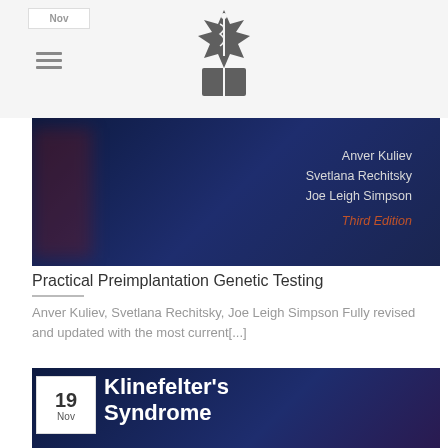[Figure (screenshot): Website header with a medical publisher logo (star of life with book) on a light gray background, with a hamburger menu icon on the left and a date badge partially visible at top left.]
[Figure (photo): Book cover on dark navy blue background showing authors: Anver Kuliev, Svetlana Rechitsky, Joe Leigh Simpson, Third Edition in italic orange text. Book: Practical Preimplantation Genetic Testing.]
Practical Preimplantation Genetic Testing
Anver Kuliev, Svetlana Rechitsky, Joe Leigh Simpson Fully revised and updated with the most current[...]
[Figure (photo): Partial book cover on dark navy blue background showing title: Klinefelter's Syndrome. Date badge showing 19 Nov overlaid on left side of cover.]